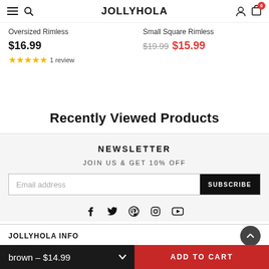JOLLYHOLA
Oversized Rimless
$16.99 ★★★★★ 1 review
Small Square Rimless
$19.99 $15.99
Recently Viewed Products
NEWSLETTER
JOIN US & GET 10% OFF
Email address  SUBSCRIBE
[Figure (other): Social media icons: Facebook, Twitter, Pinterest, Instagram, YouTube]
JOLLYHOLA INFO
brown - $14.99  ADD TO CART